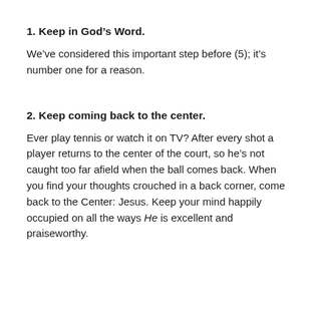1. Keep in God's Word.
We've considered this important step before (5); it's number one for a reason.
2. Keep coming back to the center.
Ever play tennis or watch it on TV? After every shot a player returns to the center of the court, so he's not caught too far afield when the ball comes back. When you find your thoughts crouched in a back corner, come back to the Center: Jesus. Keep your mind happily occupied on all the ways He is excellent and praiseworthy.